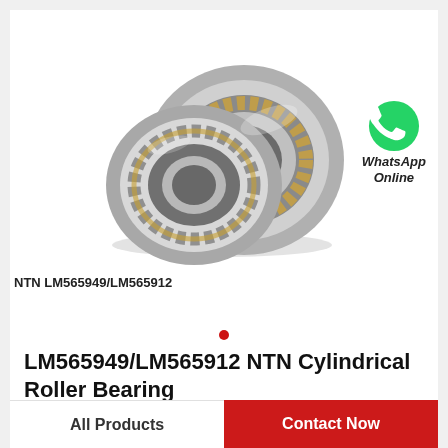[Figure (photo): Photo of NTN LM565949/LM565912 cylindrical roller bearing — two bearing rings shown at an angle, with visible rollers and brass cage. A WhatsApp green icon with a phone handset is shown at the right side.]
NTN LM565949/LM565912
WhatsApp Online
LM565949/LM565912 NTN Cylindrical Roller Bearing
All Products
Contact Now